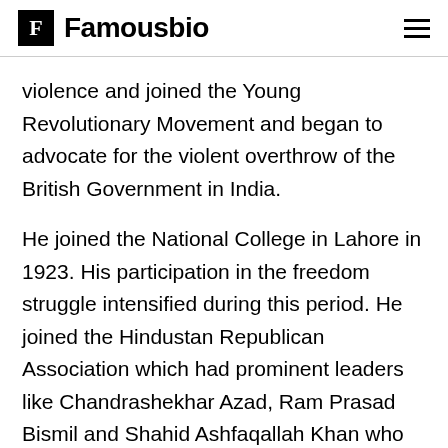F Famousbio
violence and joined the Young Revolutionary Movement and began to advocate for the violent overthrow of the British Government in India.
He joined the National College in Lahore in 1923. His participation in the freedom struggle intensified during this period. He joined the Hindustan Republican Association which had prominent leaders like Chandrashekhar Azad, Ram Prasad Bismil and Shahid Ashfaqallah Khan who further kindled his patriotic fervor. The name of the organization was changed to